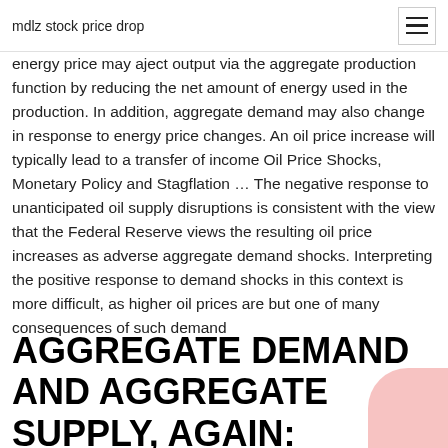mdlz stock price drop
energy price may aject output via the aggregate production function by reducing the net amount of energy used in the production. In addition, aggregate demand may also change in response to energy price changes. An oil price increase will typically lead to a transfer of income Oil Price Shocks, Monetary Policy and Stagflation … The negative response to unanticipated oil supply disruptions is consistent with the view that the Federal Reserve views the resulting oil price increases as adverse aggregate demand shocks. Interpreting the positive response to demand shocks in this context is more difficult, as higher oil prices are but one of many consequences of such demand
AGGREGATE DEMAND AND AGGREGATE SUPPLY, AGAIN: